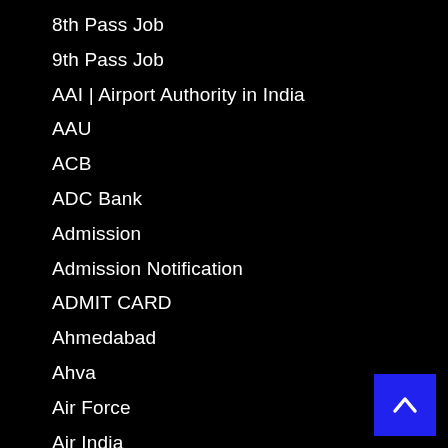8th Pass Job
9th Pass Job
AAI | Airport Authority in India
AAU
ACB
ADC Bank
Admission
Admission Notification
ADMIT CARD
Ahmedabad
Ahva
Air Force
Air India
ALL JOBS
Allocation List
Allotment List